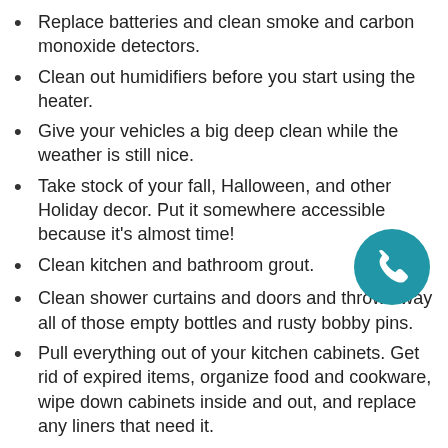Replace batteries and clean smoke and carbon monoxide detectors.
Clean out humidifiers before you start using the heater.
Give your vehicles a big deep clean while the weather is still nice.
Take stock of your fall, Halloween, and other Holiday decor. Put it somewhere accessible because it’s almost time!
Clean kitchen and bathroom grout.
Clean shower curtains and doors and throw away all of those empty bottles and rusty bobby pins.
Pull everything out of your kitchen cabinets. Get rid of expired items, organize food and cookware, wipe down cabinets inside and out, and replace any liners that need it.
Declutter your counter space and dining room